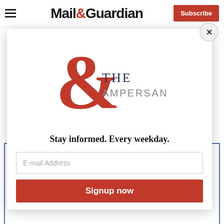Mail&Guardian — Subscribe
Fally Ipupa
Ndlovu Youth Choir
S
D
[Figure (logo): The Ampersand newsletter logo — large red ampersand with 'THE AMPERSAND' text]
Stay informed. Every weekday.
E-mail Address
Signup now